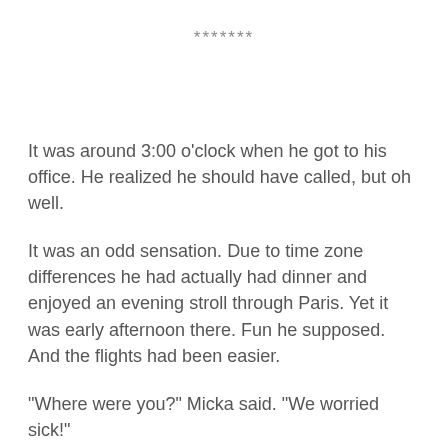*******
It was around 3:00 o'clock when he got to his office. He realized he should have called, but oh well.
It was an odd sensation. Due to time zone differences he had actually had dinner and enjoyed an evening stroll through Paris. Yet it was early afternoon there. Fun he supposed. And the flights had been easier.
"Where were you?" Micka said. "We worried sick!"
"Paris," he said "We flew there to look at linens."